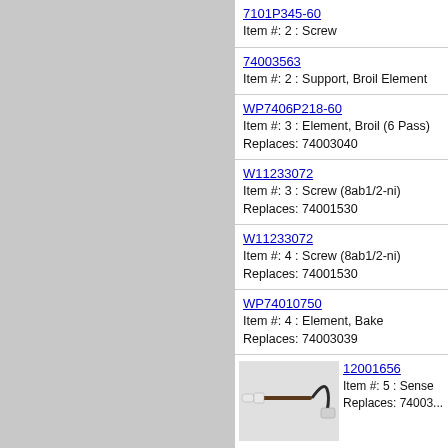7101P345-60
Item #: 2 : Screw
74003563
Item #: 2 : Support, Broil Element
WP7406P218-60
Item #: 3 : Element, Broil (6 Pass)
Replaces: 74003040
W11233072
Item #: 3 : Screw (8ab1/2-ni)
Replaces: 74001530
W11233072
Item #: 4 : Screw (8ab1/2-ni)
Replaces: 74001530
WP74010750
Item #: 4 : Element, Bake
Replaces: 74003039
[Figure (photo): Oven temperature sensor probe with white ceramic end cap and black connector wire]
12001656
Item #: 5 : Sense
Replaces: 74003...
W11233072
Item #: 5 : Screw (8ab1/2-ni)
Replaces: 74001530